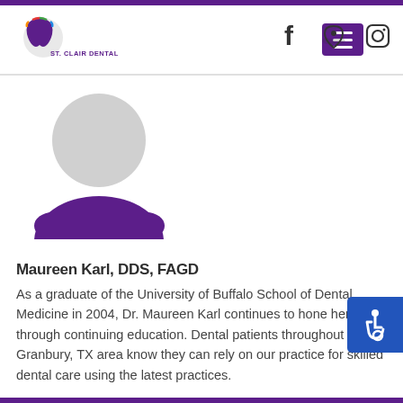St. Clair Dental — navigation header with logo, menu, facebook, map, instagram icons
[Figure (photo): Profile placeholder image: grey circle head with dark purple torso silhouette on white background]
Maureen Karl, DDS, FAGD
As a graduate of the University of Buffalo School of Dental Medicine in 2004, Dr. Maureen Karl continues to hone her craft through continuing education. Dental patients throughout the Granbury, TX area know they can rely on our practice for skilled dental care using the latest practices.